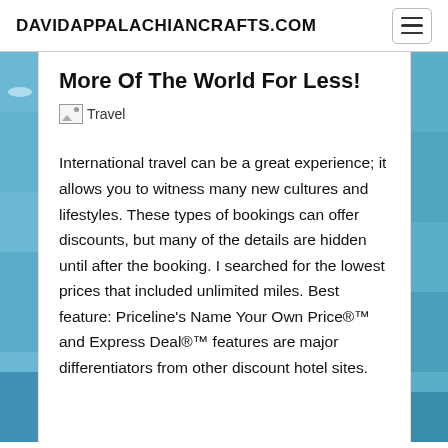DAVIDAPPALACHIANCRAFTS.COM
More Of The World For Less!
[Figure (photo): Broken image placeholder labeled 'Travel']
International travel can be a great experience; it allows you to witness many new cultures and lifestyles. These types of bookings can offer discounts, but many of the details are hidden until after the booking. I searched for the lowest prices that included unlimited miles. Best feature: Priceline's Name Your Own Price™ and Express Deal™ features are major differentiators from other discount hotel sites.